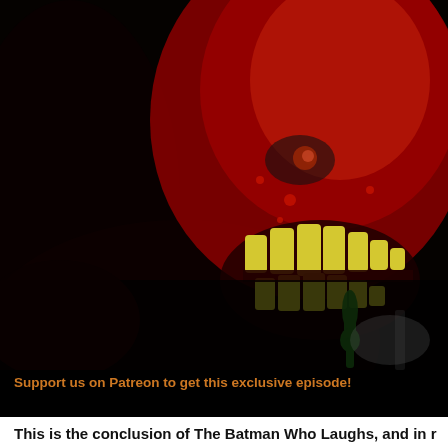[Figure (illustration): Comic book illustration of The Batman Who Laughs — a dark villain figure with glowing yellow jagged teeth, red-tinted skin, dripping green fluid, set against a very dark nearly black background with dramatic lighting.]
Support us on Patreon to get this exclusive episode!
This is the conclusion of The Batman Who Laughs, and in r